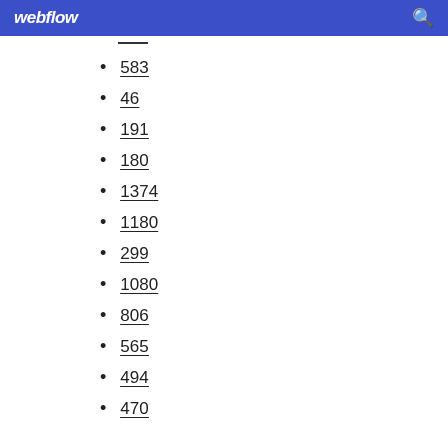webflow
583
46
191
180
1374
1180
299
1080
806
565
494
470